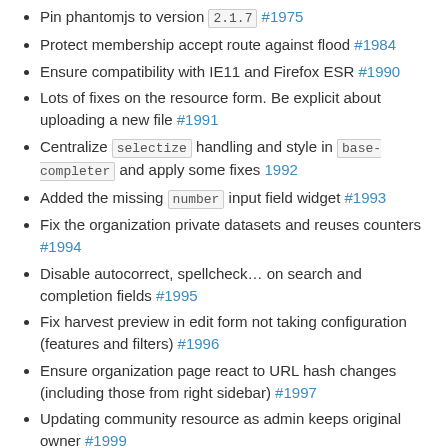Pin phantomjs to version 2.1.7 #1975
Protect membership accept route against flood #1984
Ensure compatibility with IE11 and Firefox ESR #1990
Lots of fixes on the resource form. Be explicit about uploading a new file #1991
Centralize selectize handling and style in base-completer and apply some fixes 1992
Added the missing number input field widget #1993
Fix the organization private datasets and reuses counters #1994
Disable autocorrect, spellcheck... on search and completion fields #1995
Fix harvest preview in edit form not taking configuration (features and filters) #1996
Ensure organization page react to URL hash changes (including those from right sidebar) #1997
Updating community resource as admin keeps original owner #1999